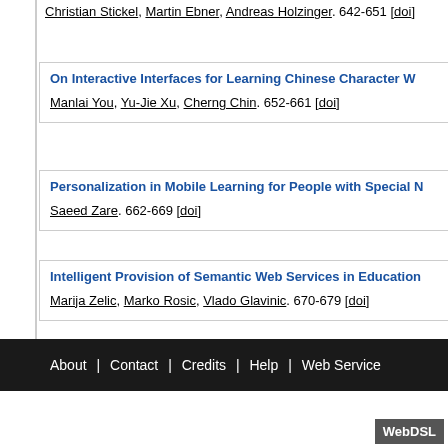Christian Stickel, Martin Ebner, Andreas Holzinger. 642-651 [doi]
On Interactive Interfaces for Learning Chinese Character W... Manlai You, Yu-Jie Xu, Cherng Chin. 652-661 [doi]
Personalization in Mobile Learning for People with Special N... Saeed Zare. 662-669 [doi]
Intelligent Provision of Semantic Web Services in Education... Marija Zelic, Marko Rosic, Vlado Glavinic. 670-679 [doi]
About | Contact | Credits | Help | Web Service
WebDSL